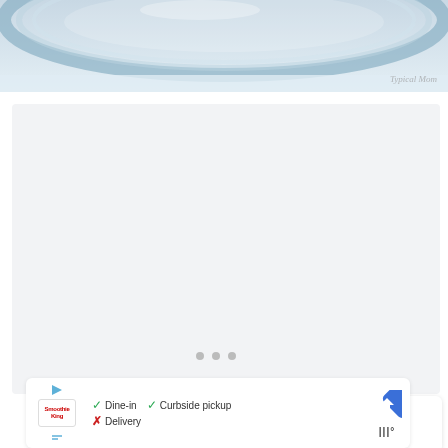[Figure (photo): Top portion of a glass bowl or dish, close-up photo with watermark 'Typical Mom' visible at bottom right]
[Figure (screenshot): Large light gray content/ad placeholder area with three gray dots indicating a carousel or loading state, with a teal heart FAB button and white share FAB button on the right]
[Figure (infographic): WHAT'S NEXT card showing a preview thumbnail of golden pastries with text 'Best Turnover Leftover Ha...']
[Figure (infographic): Ad bar showing Smoothie King logo with play button, checkmarks for Dine-in and Curbside pickup, X for Delivery, blue direction diamond icon, and bar signal icon]